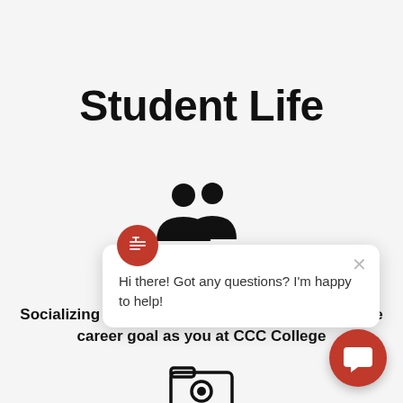Student Life
[Figure (illustration): Two person silhouette icon representing socializing/friendship]
Maki
Socializing with new friends who shares the same career goal as you at CCC College
[Figure (illustration): Camera/folder icon at bottom center]
[Figure (screenshot): Chat popup overlay with Empire Career College logo, close button, and text: Hi there! Got any questions? I'm happy to help!]
[Figure (illustration): Red circular chat button with speech bubble icon at bottom right]